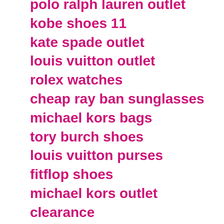polo ralph lauren outlet
kobe shoes 11
kate spade outlet
louis vuitton outlet
rolex watches
cheap ray ban sunglasses
michael kors bags
tory burch shoes
louis vuitton purses
fitflop shoes
michael kors outlet clearance
replica rolex watches
tiffany and co
nike store outlet
louboutin shoes
giuseppe zanotti outlet
michael kors outlet
nike blazers shoes
michael kors handbags
cheap basketball shoes
coach outlet store
gucci handbags
adidas superstar